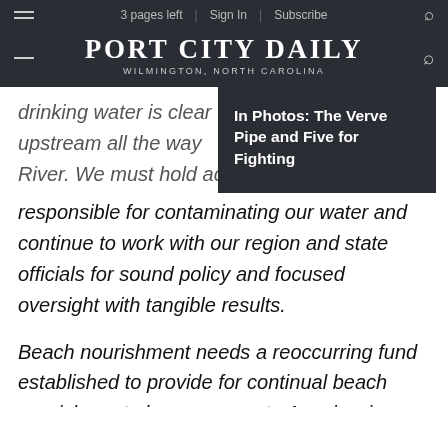3 pages left | Sign In | Subscribe
PORT CITY DAILY
WILMINGTON, NORTH CAROLINA
[Figure (screenshot): Dropdown menu overlay showing 'In Photos: The Verve Pipe and Five for Fighting']
drinking water is clear upstream all the way River. We must hold ac responsible for contaminating our water and continue to work with our region and state officials for sound policy and focused oversight with tangible results.
Beach nourishment needs a reoccurring fund established to provide for continual beach nourishment along our coast.  A review in raising our room occupancy tax (ROT) to tap into all the